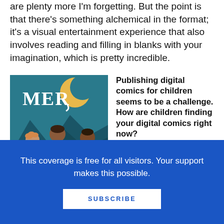are plenty more I'm forgetting. But the point is that there's something alchemical in the format; it's a visual entertainment experience that also involves reading and filling in blanks with your imagination, which is pretty incredible.
[Figure (illustration): Comic book cover for 'MER' showing four fantasy characters standing together under a yellow moon on a teal/blue background. Characters include figures with various skin tones in fantasy attire.]
Publishing digital comics for children seems to be a challenge. How are children finding your digital comics right now?
I think this is a challenge for everyone. There's a
This coverage is free for all visitors. Your support makes this possible.
SUBSCRIBE